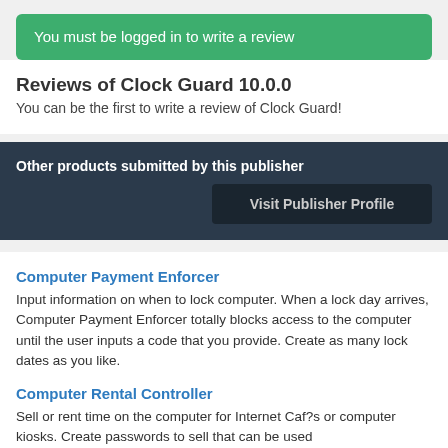You must be logged in to write a review
Reviews of Clock Guard 10.0.0
You can be the first to write a review of Clock Guard!
Other products submitted by this publisher
Visit Publisher Profile
Computer Payment Enforcer
Input information on when to lock computer. When a lock day arrives, Computer Payment Enforcer totally blocks access to the computer until the user inputs a code that you provide. Create as many lock dates as you like.
Computer Rental Controller
Sell or rent time on the computer for Internet Caf?s or computer kiosks. Create passwords to sell that can be used